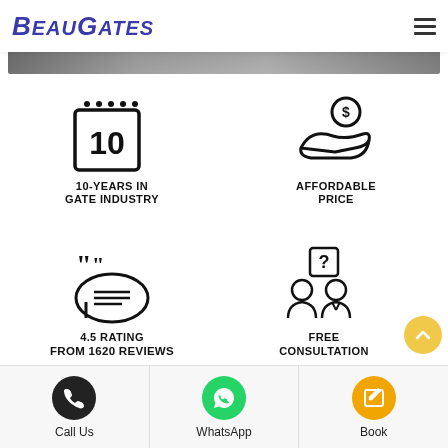BeauGates
[Figure (photo): Hero image showing people, partially visible at top of page]
[Figure (infographic): 10-YEARS IN GATE INDUSTRY icon with calendar/10 badge]
10-YEARS IN
GATE INDUSTRY
[Figure (infographic): AFFORDABLE PRICE icon with hand holding coin]
AFFORDABLE
PRICE
[Figure (infographic): 4.5 RATING FROM 1620 REVIEWS icon with speech bubble]
4.5 RATING
FROM 1620 REVIEWS
[Figure (infographic): FREE CONSULTATION icon with two people and question mark]
FREE
CONSULTATION
Call Us
WhatsApp
Book